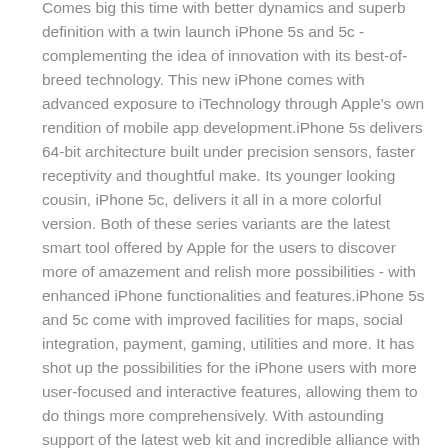flagship project, iPhone – continually improving the experience of this world class smart phone product. Comes big this time with better dynamics and superb definition with a twin launch iPhone 5s and 5c - complementing the idea of innovation with its best-of-breed technology. This new iPhone comes with advanced exposure to iTechnology through Apple's own rendition of mobile app development.iPhone 5s delivers 64-bit architecture built under precision sensors, faster receptivity and thoughtful make. Its younger looking cousin, iPhone 5c, delivers it all in a more colorful version. Both of these series variants are the latest smart tool offered by Apple for the users to discover more of amazement and relish more possibilities - with enhanced iPhone functionalities and features.iPhone 5s and 5c come with improved facilities for maps, social integration, payment, gaming, utilities and more. It has shot up the possibilities for the iPhone users with more user-focused and interactive features, allowing them to do things more comprehensively. With astounding support of the latest web kit and incredible alliance with the advanced web standards, iPhone 5s furnishes great value for its users.iPhone 5s/5c app